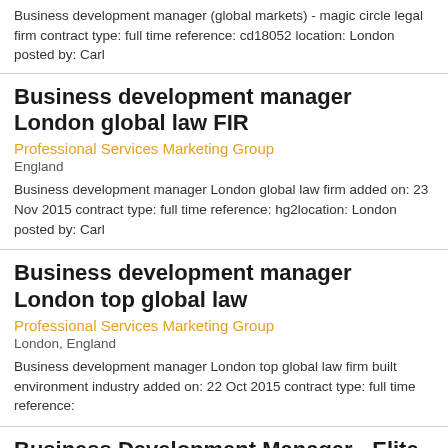Business development manager (global markets) - magic circle legal firm contract type: full time reference: cd18052 location: London posted by: Carl
Business development manager London global law FIR
Professional Services Marketing Group
England
Business development manager London global law firm added on: 23 Nov 2015 contract type: full time reference: hg2location: London posted by: Carl
Business development manager London top global law
Professional Services Marketing Group
London, England
Business development manager London top global law firm built environment industry added on: 22 Oct 2015 contract type: full time reference:
Business Development Manager - Elite Global Law Firm
Leighton Taylor Consulting
London, England
This elite global firm is looking for a business development manager to support the global mining & metals and power industry groups on marketing and